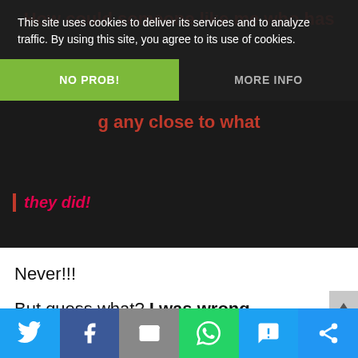This site uses cookies to deliver its services and to analyze traffic. By using this site, you agree to its use of cookies.
NO PROB!
MORE INFO
they did!
Never!!!
But guess what? I was wrong.
#CrossFit is as competitive as you make